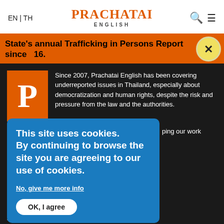EN | TH   PRACHATAI ENGLISH
State's annual Trafficking in Persons Report since 16.
[Figure (logo): Prachatai English orange P logo]
Since 2007, Prachatai English has been covering underreported issues in Thailand, especially about democratization and human rights, despite the risk and pressure from the law and the authorities.
full-time reporters and keeping our work going is a stay a professional media to meet the challenges and
PRACHATAI ENGLISH
1. อินเทอร์เน็ต ประชาไท" or "Prachatai Online k
2. ss: service@prachatai.com, please leave a English"
This site uses cookies. By continuing to browse the site you are agreeing to our use of cookies.
No, give me more info
OK, I agree